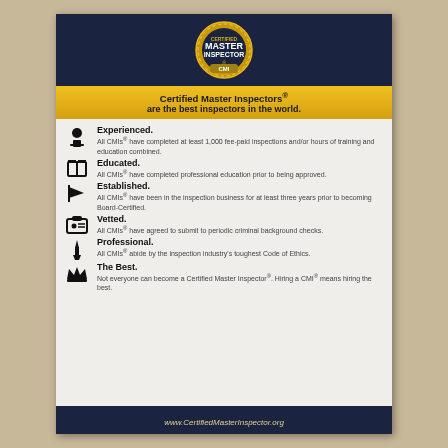[Figure (logo): Certified Master Inspector (CMI) gold seal badge on dark navy banner]
Certified Master Inspectors® are the best inspectors in the world.
Experienced. All CMIs® have completed at least 1,000 fee-paid inspections and/or hours of training and education combined.
Educated. All CMIs® have completed professional education prior to being approved.
Established. All CMIs® have been in the inspection business for at least three years prior to becoming Board-Certified.
Vetted. All CMIs® have agreed to submit to periodic criminal background checks.
Professional. All CMIs® abide by the inspection industry's toughest Code of Ethics.
The Best. Not everyone can become a Certified Master Inspector®. Hiring a CMI® means hiring the best.
www.CertifiedMasterInspector.org